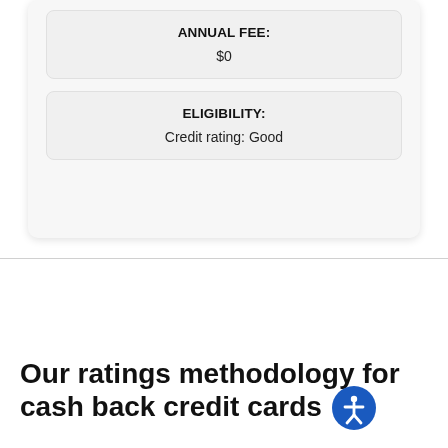ANNUAL FEE:
$0
ELIGIBILITY:
Credit rating: Good
Our ratings methodology for cash back credit cards